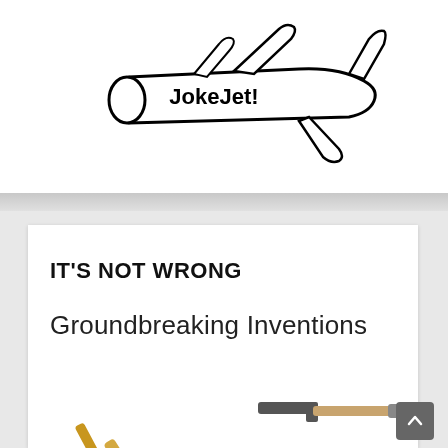[Figure (logo): JokeJet! logo: outline drawing of a passenger airplane flying left with text 'JokeJet!' inside the fuselage]
IT'S NOT WRONG
Groundbreaking Inventions
[Figure (photo): Partial photo of groundbreaking tools: a shovel handle and an L-shaped tool (pick or hoe) with wooden handle]